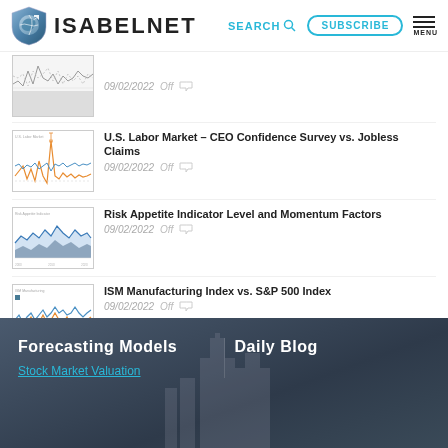ISABELNET — SEARCH SUBSCRIBE MENU
09/02/2022  Off
U.S. Labor Market – CEO Confidence Survey vs. Jobless Claims
09/02/2022  Off
Risk Appetite Indicator Level and Momentum Factors
09/02/2022  Off
ISM Manufacturing Index vs. S&P 500 Index
09/02/2022  Off
Forecasting Models
Stock Market Valuation
Daily Blog